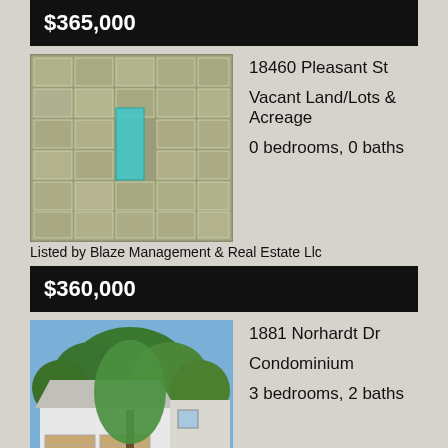$365,000
[Figure (photo): Aerial/satellite map view of a vacant land parcel highlighted in cyan/teal among surrounding plots]
18460 Pleasant St
Vacant Land/Lots & Acreage
0 bedrooms, 0 baths
Listed by Blaze Management & Real Estate Llc
$360,000
[Figure (photo): Exterior photo of a condominium with white siding, garage, and large green trees in front]
1881 Norhardt Dr
Condominium
3 bedrooms, 2 baths
Listed by Keller Williams Realty (partial, cut off)